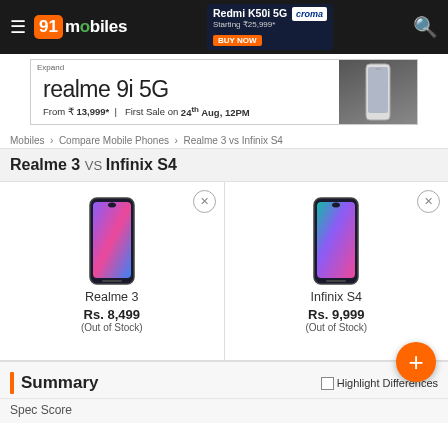91mobiles header with Redmi K50i 5G ad and search
[Figure (screenshot): Realme 9i 5G advertisement banner: From ₹13,999* | First Sale on 24th Aug, 12PM]
Mobiles › Compare Mobile Phones › Realme 3 vs Infinix S4
Realme 3 VS Infinix S4
[Figure (photo): Realme 3 phone image – gradient pink/purple screen, waterdrop notch]
Realme 3
Rs. 8,499
(Out of Stock)
[Figure (photo): Infinix S4 phone image – gradient teal/purple screen, waterdrop notch]
Infinix S4
Rs. 9,999
(Out of Stock)
Summary
Highlight Differences
Spec Score